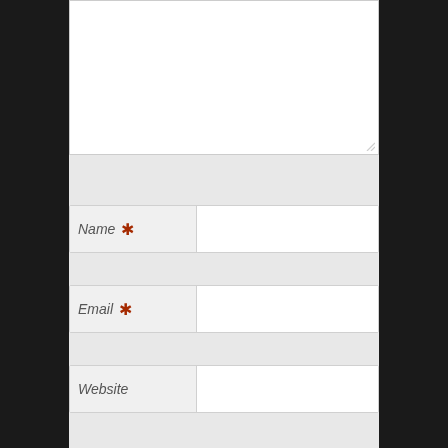[Figure (screenshot): Web form interface showing a textarea with resize handle, followed by labeled input fields for Name (required), Email (required), and Website, each with a light gray label area on the left and white input area on the right, on a gray background with dark side bars.]
Name *
Email *
Website